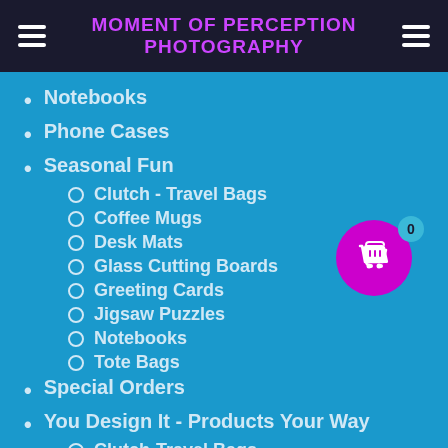Moment Of Perception Photography
Notebooks
Phone Cases
Seasonal Fun
Clutch - Travel Bags
Coffee Mugs
Desk Mats
Glass Cutting Boards
Greeting Cards
Jigsaw Puzzles
Notebooks
Tote Bags
Special Orders
You Design It - Products Your Way
Clutch-Travel Bags
[Figure (illustration): Shopping cart icon in a magenta/purple circle with a badge showing '0']